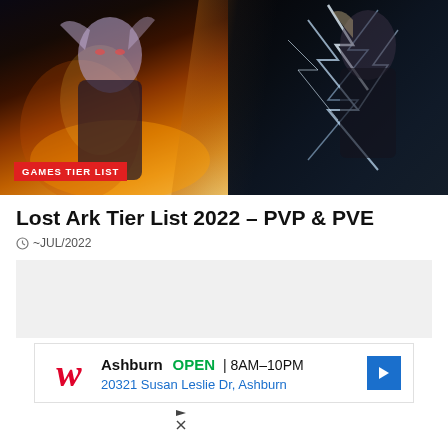[Figure (illustration): Hero banner image showing two fantasy game characters: a female character with fire/flame effects on the left side and a dark character with lightning/electric effects on the right side, with a diagonal split composition]
GAMES TIER LIST
Lost Ark Tier List 2022 – PVP & PVE
~JUL/2022
[Figure (other): Gray placeholder advertisement box]
[Figure (other): Walgreens advertisement: Ashburn OPEN 8AM-10PM, 20321 Susan Leslie Dr, Ashburn]